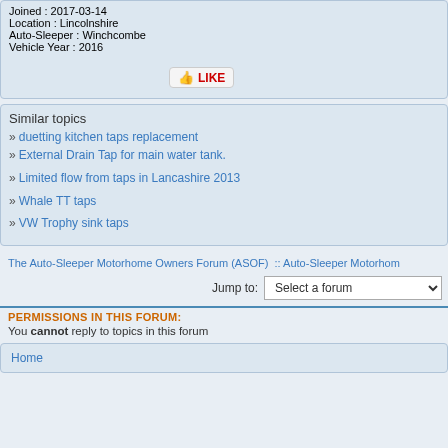Joined : 2017-03-14
Location : Lincolnshire
Auto-Sleeper : Winchcombe
Vehicle Year : 2016
[Figure (other): LIKE button with thumbs up icon]
Similar topics
» duetting kitchen taps replacement
» External Drain Tap for main water tank.
» Limited flow from taps in Lancashire 2013
» Whale TT taps
» VW Trophy sink taps
The Auto-Sleeper Motorhome Owners Forum (ASOF)  ::  Auto-Sleeper Motorhom
Jump to:   Select a forum
PERMISSIONS IN THIS FORUM:
You cannot reply to topics in this forum
Home